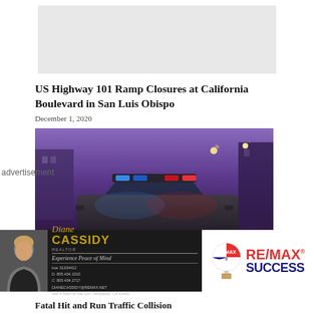[Figure (photo): Gray placeholder image at top of page]
US Highway 101 Ramp Closures at California Boulevard in San Luis Obispo
December 1, 2020
[Figure (photo): Night photo of police car with blue and red emergency lights illuminated, purple-lit urban scene in background]
advertisement
[Figure (photo): Advertisement banner for Diane Cassidy Realtor with RE/MAX Success branding. Contact info: boe 31334412, D: 805.434.1010, C: 805.434.2717, DIANECASSIDY@REMAX.NET, 408 S Main St Ste 120, Templeton, CA 93465. Tagline: Experience Peace of Mind]
Fatal Hit and Run Traffic Collision